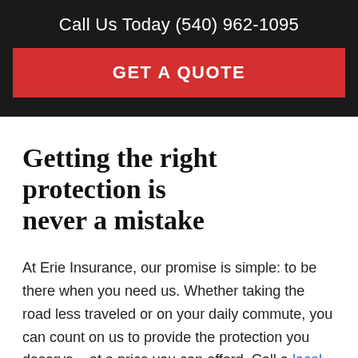Call Us Today (540) 962-1095
GET A QUOTE
Getting the right protection is never a mistake
At Erie Insurance, our promise is simple: to be there when you need us. Whether taking the road less traveled or on your daily commute, you can count on us to provide the protection you deserve – at a price you can afford. Call a local car agent near you today to